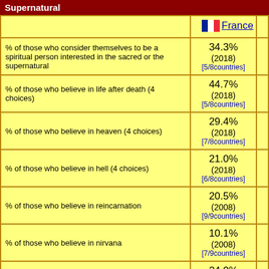Supernatural
|  | France |
| --- | --- |
| % of those who consider themselves to be a spiritual person interested in the sacred or the supernatural | 34.3% (2018) [5/8countries] |
| % of those who believe in life after death (4 choices) | 44.7% (2018) [5/8countries] |
| % of those who believe in heaven (4 choices) | 29.4% (2018) [7/8countries] |
| % of those who believe in hell (4 choices) | 21.0% (2018) [6/8countries] |
| % of those who believe in reincarnation | 20.5% (2008) [9/9countries] |
| % of those who believe in nirvana | 10.1% (2008) [7/9countries] |
| % of those who believe in the supernatural powers of deceased ancestors | 24.0% (2018) [5/8countries] |